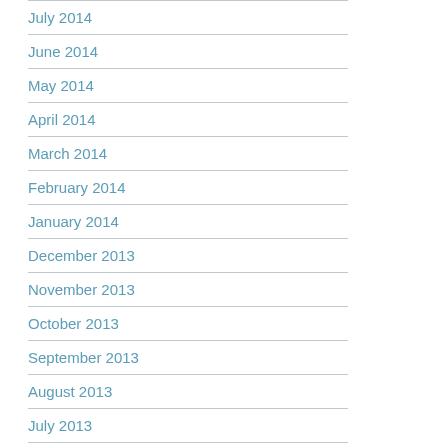July 2014
June 2014
May 2014
April 2014
March 2014
February 2014
January 2014
December 2013
November 2013
October 2013
September 2013
August 2013
July 2013
June 2013
May 2013
April 2013
February 2013
January 2013